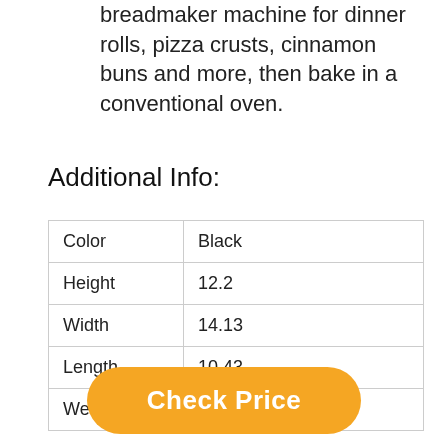breadmaker machine for dinner rolls, pizza crusts, cinnamon buns and more, then bake in a conventional oven.
Additional Info:
| Color | Black |
| Height | 12.2 |
| Width | 14.13 |
| Length | 10.43 |
| Weight | 11.904962148 |
Check Price